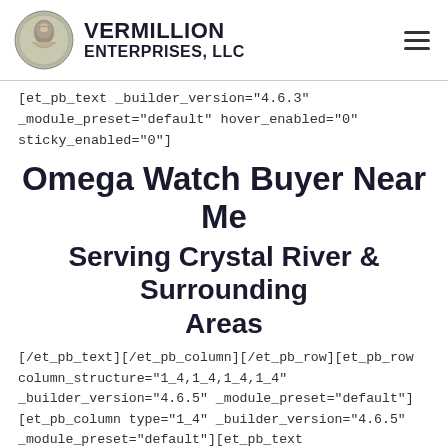VERMILLION ENTERPRISES, LLC
[et_pb_text _builder_version="4.6.3" _module_preset="default" hover_enabled="0" sticky_enabled="0"]
Omega Watch Buyer Near Me
Serving Crystal River & Surrounding Areas
[/et_pb_text][/et_pb_column][/et_pb_row][et_pb_row column_structure="1_4,1_4,1_4,1_4" _builder_version="4.6.5" _module_preset="default"][et_pb_column type="1_4" _builder_version="4.6.5" _module_preset="default"][et_pb_text _builder_version="4.6.5" _module_preset="default"]